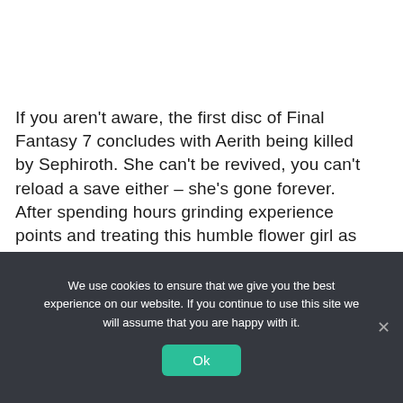If you aren't aware, the first disc of Final Fantasy 7 concludes with Aerith being killed by Sephiroth. She can't be revived, you can't reload a save either – she's gone forever. After spending hours grinding experience points and treating this humble flower girl as a permanent
We use cookies to ensure that we give you the best experience on our website. If you continue to use this site we will assume that you are happy with it.